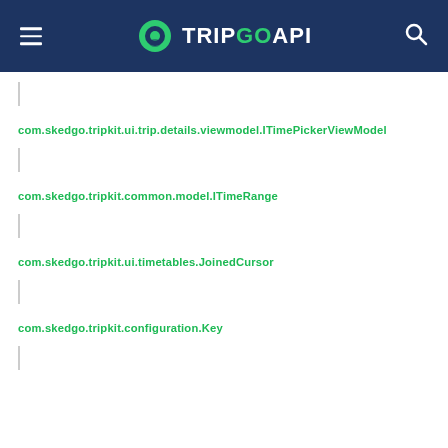TripGo API
|
com.skedgo.tripkit.ui.trip.details.viewmodel.ITimePickerViewModel
|
com.skedgo.tripkit.common.model.ITimeRange
|
com.skedgo.tripkit.ui.timetables.JoinedCursor
|
com.skedgo.tripkit.configuration.Key
|